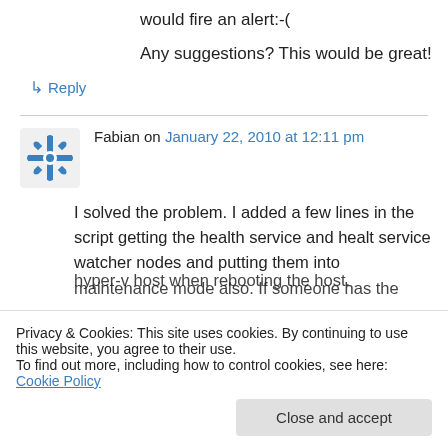would fire an alert:-(
Any suggestions? This would be great!
↳ Reply
Fabian on January 22, 2010 at 12:11 pm
I solved the problem. I added a few lines in the script getting the health service and healt service watcher nodes and putting them into maintenance mode also. If someone has the hyper-v host when rebooting the host.
Privacy & Cookies: This site uses cookies. By continuing to use this website, you agree to their use.
To find out more, including how to control cookies, see here: Cookie Policy
Close and accept